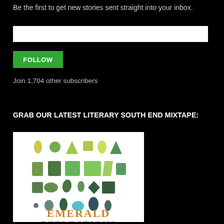Be the first to get new stories sent straight into your inbox.
[Figure (other): Email input text field, white background]
FOLLOW
Join 1,704 other subscribers
GRAB OUR LATEST LITERARY SOUTH END MIXTAPE:
[Figure (illustration): Book cover for 'Emerald Reflections' showing various green gemstones in watercolor style arranged in rows, with the title text in gold/orange serif font at the bottom.]